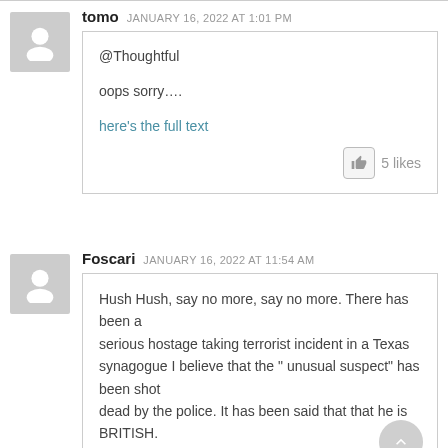tomo  JANUARY 16, 2022 AT 1:01 PM
@Thoughtful

oops sorry….

here's the full text

5 likes
Foscari  JANUARY 16, 2022 AT 11:54 AM
Hush Hush, say no more, say no more. There has been a serious hostage taking terrorist incident in a Texas synagogue I believe that the " unusual suspect" has been shot dead by the police. It has been said that that he is BRITISH.